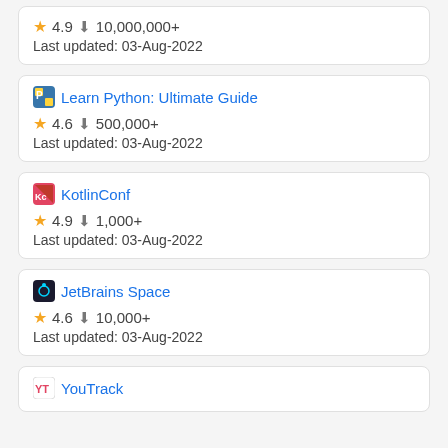4.9 10,000,000+
Last updated: 03-Aug-2022
Learn Python: Ultimate Guide
4.6 500,000+
Last updated: 03-Aug-2022
KotlinConf
4.9 1,000+
Last updated: 03-Aug-2022
JetBrains Space
4.6 10,000+
Last updated: 03-Aug-2022
YouTrack